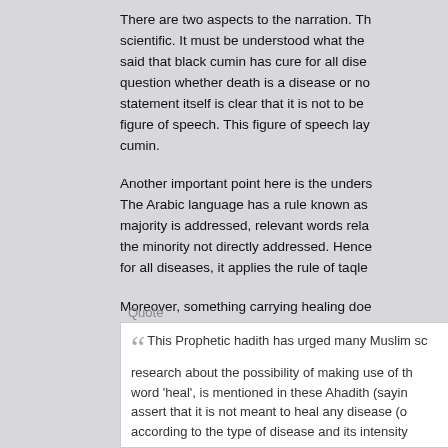There are two aspects to the narration. Th... scientific. It must be understood what the... said that black cumin has cure for all dise... question whether death is a disease or no... statement itself is clear that it is not to be... figure of speech. This figure of speech lay... cumin.
Another important point here is the unders... The Arabic language has a rule known as... majority is addressed, relevant words rela... the minority not directly addressed. Hence... for all diseases, it applies the rule of taqle...
Moreover, something carrying healing doe... provide healing. If, for example, acetamin... it does not mean that consuming it would... states regarding the Hadith:
Quote
This Prophetic hadith has urged many Muslim sc... research about the possibility of making use of th... word 'heal', is mentioned in these Ahadith (sayin... assert that it is not meant to heal any disease (o... according to the type of disease and its intensity...